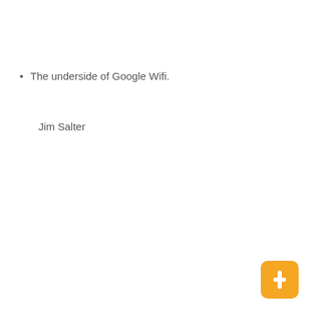The underside of Google Wifi.
Jim Salter